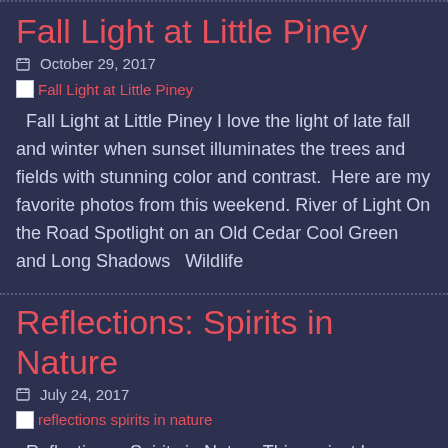Fall Light at Little Piney
October 29, 2017
[Figure (illustration): Broken image placeholder with link text 'Fall Light at Little Piney']
Fall Light at Little Piney I love the light of late fall and winter when sunset illuminates the trees and fields with stunning color and contrast.  Here are my favorite photos from this weekend. River of Light On the Road Spotlight on an Old Cedar Cool Green and Long Shadows   Wildlife
Reflections: Spirits in Nature
July 24, 2017
[Figure (illustration): Broken image placeholder with link text 'reflections spirits in nature']
Reflections:  Spirits in Nature This project began with a late afternoon canoe trip.  As the light changed and the breeze died, the surface of the creek grew smooth and